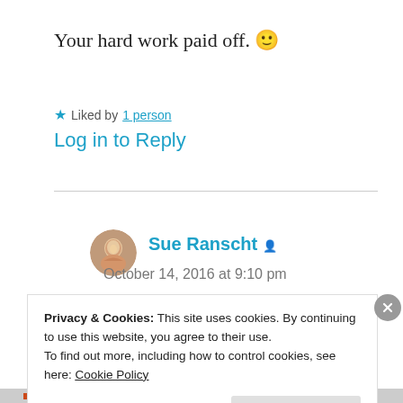Your hard work paid off. 🙂
★ Liked by 1 person
Log in to Reply
Sue Ranscht
October 14, 2016 at 9:10 pm
Privacy & Cookies: This site uses cookies. By continuing to use this website, you agree to their use.
To find out more, including how to control cookies, see here: Cookie Policy
Close and accept